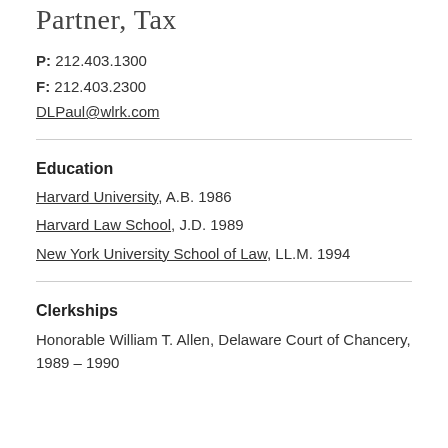Partner, Tax
P: 212.403.1300
F: 212.403.2300
DLPaul@wlrk.com
Education
Harvard University, A.B. 1986
Harvard Law School, J.D. 1989
New York University School of Law, LL.M. 1994
Clerkships
Honorable William T. Allen, Delaware Court of Chancery, 1989 – 1990